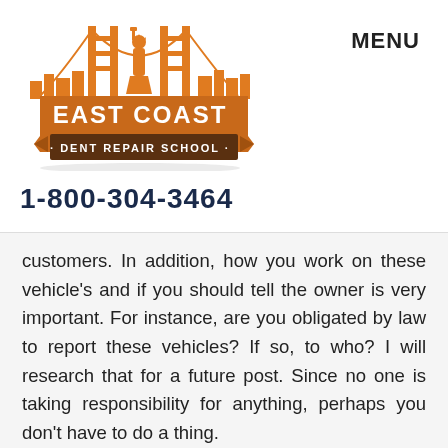[Figure (logo): East Coast Dent Repair School logo with orange bridge and Statue of Liberty graphic and banner]
1-800-304-3464
MENU
customers. In addition, how you work on these vehicle’s and if you should tell the owner is very important. For instance, are you obligated by law to report these vehicles? If so, to who? I will research that for a future post. Since no one is taking responsibility for anything, perhaps you don’t have to do a thing.